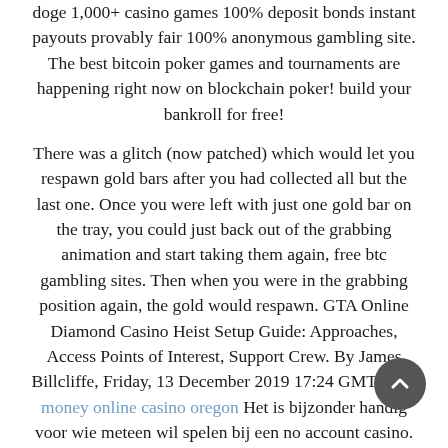doge 1,000+ casino games 100% deposit bonds instant payouts provably fair 100% anonymous gambling site. The best bitcoin poker games and tournaments are happening right now on blockchain poker! build your bankroll for free!
There was a glitch (now patched) which would let you respawn gold bars after you had collected all but the last one. Once you were left with just one gold bar on the tray, you could just back out of the grabbing animation and start taking them again, free btc gambling sites. Then when you were in the grabbing position again, the gold would respawn. GTA Online Diamond Casino Heist Setup Guide: Approaches, Access Points of Interest, Support Crew. By James Billcliffe, Friday, 13 December 2019 17:24 GMT. Real money online casino oregon Het is bijzonder handig voor wie meteen wil spelen bij een no account casino. Hoe word je lid van een no account casino, online casinos free no deposit bonus. Although offline gambling is not prohibited in Canada, every online casino Quebec feels some pressure, online casinos list. It is not so easy to get the license, as the government is not so happy with the popularity of many online playing